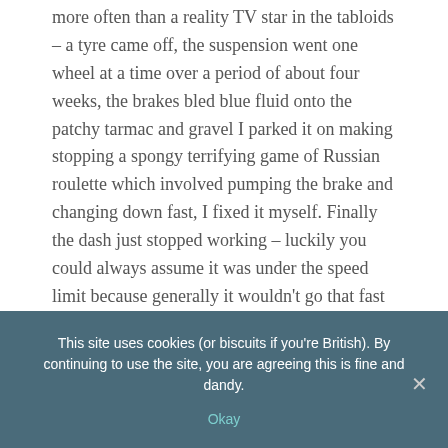more often than a reality TV star in the tabloids – a tyre came off, the suspension went one wheel at a time over a period of about four weeks, the brakes bled blue fluid onto the patchy tarmac and gravel I parked it on making stopping a spongy terrifying game of Russian roulette which involved pumping the brake and changing down fast, I fixed it myself. Finally the dash just stopped working – luckily you could always assume it was under the speed limit because generally it wouldn't go that fast – it needed a run up at hills, and wobbled madly over 60mph when it eventually got there. It was gutless, badly put together, and had velour seats which absorbed anything the children dropped or leaked into it. I hated it.
The swan song occurred one autumn night. I'd parked it
This site uses cookies (or biscuits if you're British). By continuing to use the site, you are agreeing this is fine and dandy.
Okay